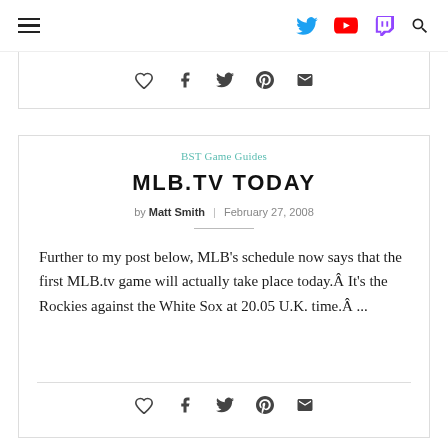navigation header with hamburger menu and social icons (Twitter, YouTube, Twitch, Search)
[Figure (other): Social share bar with heart, facebook, twitter, pinterest, and email icons]
BST Game Guides
MLB.TV TODAY
by Matt Smith  |  February 27, 2008
Further to my post below, MLB’s schedule now says that the first MLB.tv game will actually take place today.Â It’s the Rockies against the White Sox at 20.05 U.K. time.Â ...
[Figure (other): Social share bar with heart, facebook, twitter, pinterest, and email icons]